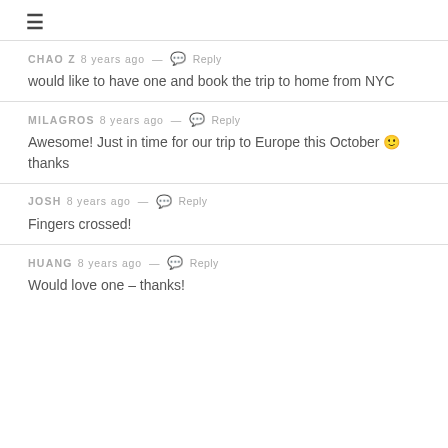≡
CHAO Z 8 years ago — Reply
would like to have one and book the trip to home from NYC
MILAGROS 8 years ago — Reply
Awesome! Just in time for our trip to Europe this October 🙂 thanks
JOSH 8 years ago — Reply
Fingers crossed!
HUANG 8 years ago — Reply
Would love one – thanks!